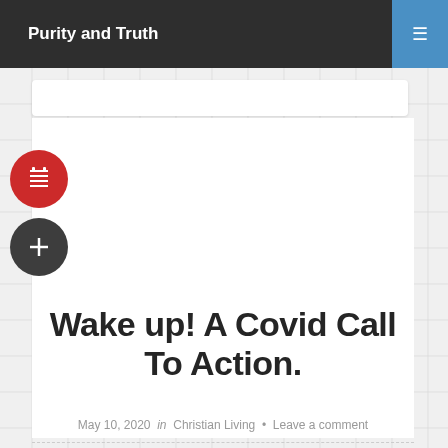Purity and Truth
Wake up! A Covid Call To Action.
May 10, 2020  in  Christian Living  •  Leave a comment